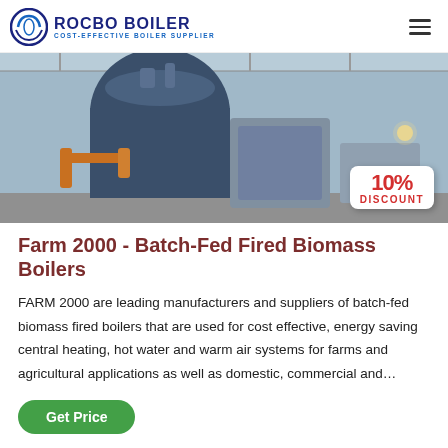ROCBO BOILER — COST-EFFECTIVE BOILER SUPPLIER
[Figure (photo): Industrial boiler equipment inside a factory/warehouse, with large blue cylindrical boiler and grey rectangular units. A '10% DISCOUNT' badge is overlaid in the bottom-right corner.]
Farm 2000 - Batch-Fed Fired Biomass Boilers
FARM 2000 are leading manufacturers and suppliers of batch-fed biomass fired boilers that are used for cost effective, energy saving central heating, hot water and warm air systems for farms and agricultural applications as well as domestic, commercial and…
Get Price